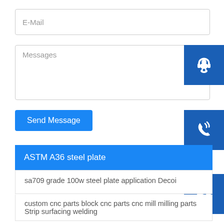E-Mail
Messages
Send Message
ASTM A36 steel plate
sa709 grade 100w steel plate application Decoi
custom cnc parts block cnc parts cnc mill milling parts Strip surfacing welding
stainless steel weld tube pipe 201 202 301 304 grade Rolling